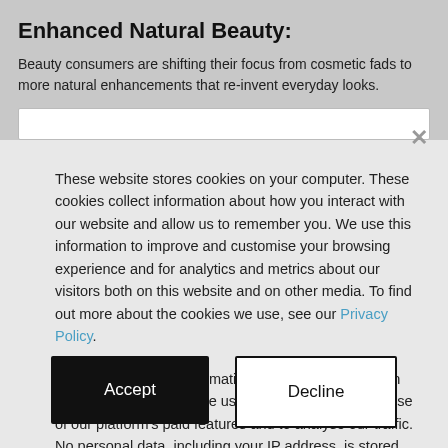Enhanced Natural Beauty:
Beauty consumers are shifting their focus from cosmetic fads to more natural enhancements that re-invent everyday looks.
These website stores cookies on your computer. These cookies collect information about how you interact with our website and allow us to remember you. We use this information to improve and customise your browsing experience and for analytics and metrics about our visitors both on this website and on other media. To find out more about the cookies we use, see our Privacy Policy.
If you decline, your information won't be tracked when you visit this website. We use cookies to enable the use of our platform's paid features and to analyse our traffic. No personal data, including your IP address, is stored and we do not sell data to third parties.